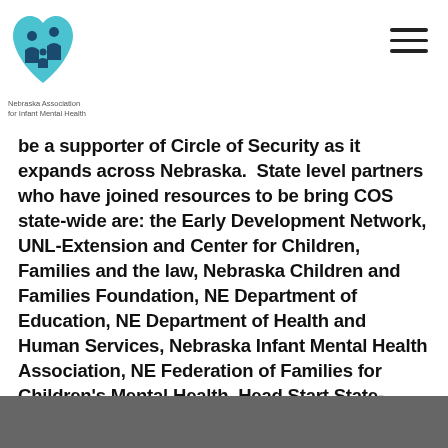Nebraska Association for Infant Mental Health
be a supporter of Circle of Security as it expands across Nebraska.  State level partners who have joined resources to be bring COS state-wide are: the Early Development Network, UNL-Extension and Center for Children, Families and the law, Nebraska Children and Families Foundation, NE Department of Education, NE Department of Health and Human Services, Nebraska Infant Mental Health Association, NE Federation of Families for Children's Mental Health, Head Start State-Collaboration Office and others.